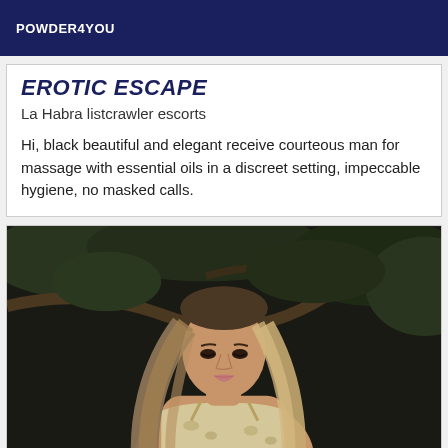POWDER4YOU
EROTIC ESCAPE
La Habra listcrawler escorts
Hi, black beautiful and elegant receive courteous man for massage with essential oils in a discreet setting, impeccable hygiene, no masked calls.
[Figure (photo): Woman with long blonde ombre hair wearing a light floral top, photographed outdoors at night against dark foliage and trees]